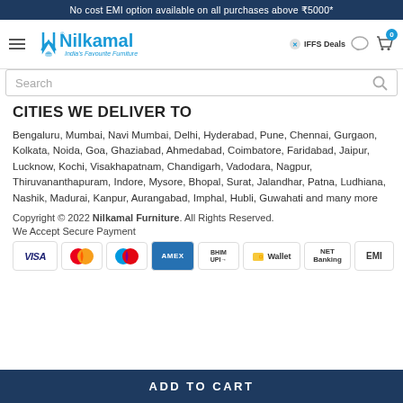No cost EMI option available on all purchases above ₹5000*
[Figure (logo): Nilkamal logo with tagline India's Favourite Furniture and navigation icons]
Search
CITIES WE DELIVER TO
Bengaluru, Mumbai, Navi Mumbai, Delhi, Hyderabad, Pune, Chennai, Gurgaon, Kolkata, Noida, Goa, Ghaziabad, Ahmedabad, Coimbatore, Faridabad, Jaipur, Lucknow, Kochi, Visakhapatnam, Chandigarh, Vadodara, Nagpur, Thiruvananthapuram, Indore, Mysore, Bhopal, Surat, Jalandhar, Patna, Ludhiana, Nashik, Madurai, Kanpur, Aurangabad, Imphal, Hubli, Guwahati and many more
Copyright © 2022 Nilkamal Furniture. All Rights Reserved.
We Accept Secure Payment
[Figure (infographic): Payment method icons: VISA, MasterCard, Maestro, AMEX, BHIM UPI, Wallet, NET Banking, EMI]
ADD TO CART